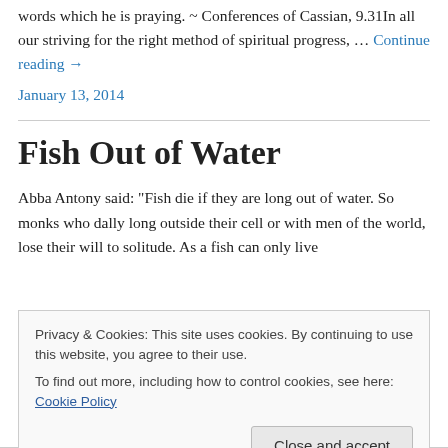words which he is praying. ~ Conferences of Cassian, 9.31In all our striving for the right method of spiritual progress, … Continue reading →
January 13, 2014
Fish Out of Water
Abba Antony said: "Fish die if they are long out of water. So monks who dally long outside their cell or with men of the world, lose their will to solitude. As a fish can only live
Privacy & Cookies: This site uses cookies. By continuing to use this website, you agree to their use.
To find out more, including how to control cookies, see here: Cookie Policy
Close and accept